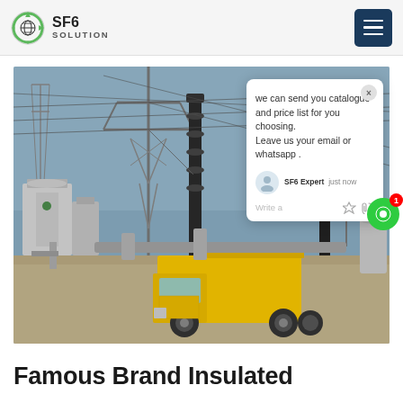SF6 SOLUTION
[Figure (photo): Electrical substation with high-voltage transmission towers, insulators, and equipment. A yellow truck is parked in the foreground. Power lines and steel lattice towers visible in the background against a blue sky.]
we can send you catalogue and price list for you choosing. Leave us your email or whatsapp .
SF6 Expert   just now
Write a
Famous Brand Insulated